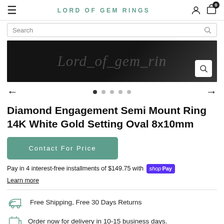LORD OF GEM RINGS
[Figure (screenshot): Product image area showing Lord_of_gem_rings watermark text on dark background with a search icon button]
Diamond Engagement Semi Mount Ring 14K White Gold Setting Oval 8x10mm
Contact For Price
Pay in 4 interest-free installments of $149.75 with shop Pay
Learn more
Free Shipping, Free 30 Days Returns
Order now for delivery in 10-15 business days.